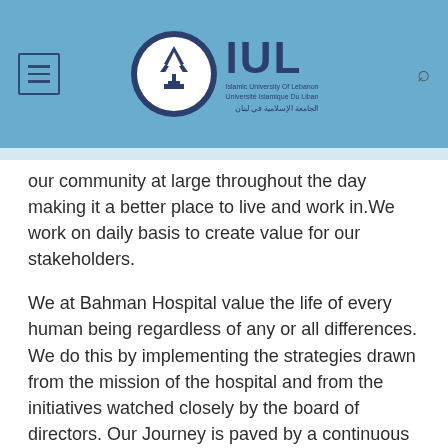[Figure (logo): IUL (Islamic University of Lebanon) logo with circular emblem and text in English and Arabic]
our community at large throughout the day making it a better place to live and work in.We work on daily basis to create value for our stakeholders.
We at Bahman Hospital value the life of every human being regardless of any or all differences. We do this by implementing the strategies drawn from the mission of the hospital and from the initiatives watched closely by the board of directors. Our Journey is paved by a continuous